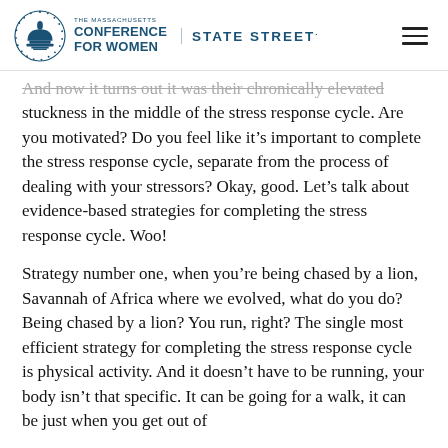The Massachusetts Conference for Women | STATE STREET
And now it turns out it was their chronically elevated stuckness in the middle of the stress response cycle. Are you motivated? Do you feel like it's important to complete the stress response cycle, separate from the process of dealing with your stressors? Okay, good. Let's talk about evidence-based strategies for completing the stress response cycle. Woo!
Strategy number one, when you're being chased by a lion, Savannah of Africa where we evolved, what do you do? Being chased by a lion? You run, right? The single most efficient strategy for completing the stress response cycle is physical activity. And it doesn't have to be running, your body isn't that specific. It can be going for a walk, it can be just when you get out of